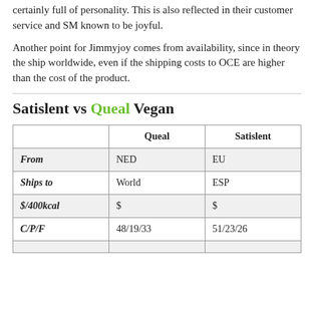certainly full of personality. This is also reflected in their customer service and SM known to be joyful.
Another point for Jimmyjoy comes from availability, since in theory the ship worldwide, even if the shipping costs to OCE are higher than the cost of the product.
Satislent vs Queal Vegan
|  | Queal | Satislent |
| --- | --- | --- |
| From | NED | EU |
| Ships to | World | ESP |
| $/400kcal | $ | $ |
| C/P/F | 48/19/33 | 51/23/26 |